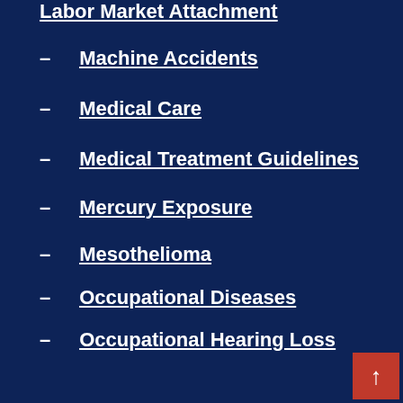Labor Market Attachment
Machine Accidents
Medical Care
Medical Treatment Guidelines
Mercury Exposure
Mesothelioma
Occupational Diseases
Occupational Hearing Loss
OSHA Violations
Out-Of-State Employers
Pre-Existing Injuries